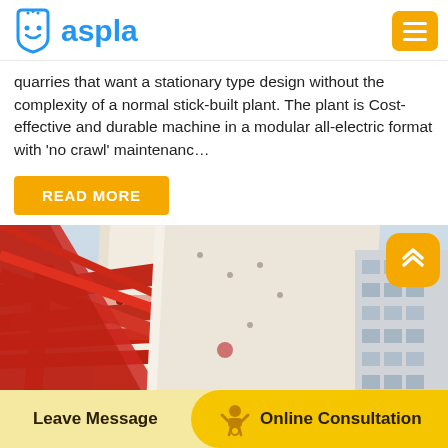aspla
quarries that want a stationary type design without the complexity of a normal stick-built plant. The plant is Cost-effective and durable machine in a modular all-electric format with 'no crawl' maintenanc…
READ MORE
[Figure (photo): Low-angle photograph of industrial machinery showing red steel structural frame on the left and a large white/cream angled panel in the center, with a multi-story building visible on the right side against an overcast sky.]
Leave Message
Online Consultation